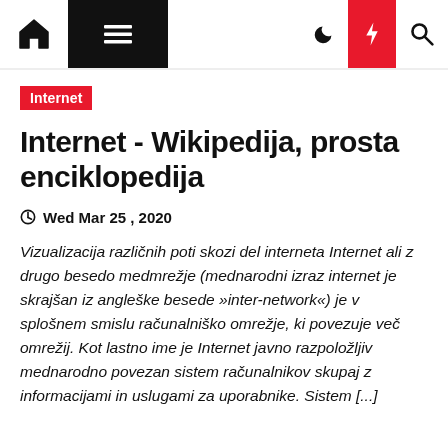Internet - Wikipedija navigation bar
Internet
Internet - Wikipedija, prosta enciklopedija
Wed Mar 25 , 2020
Vizualizacija različnih poti skozi del interneta Internet ali z drugo besedo medmrežje (mednarodni izraz internet je skrajšan iz angleške besede »inter-network«) je v splošnem smislu računalniško omrežje, ki povezuje več omrežij. Kot lastno ime je Internet javno razpoložljiv mednarodno povezan sistem računalnikov skupaj z informacijami in uslugami za uporabnike. Sistem [...]